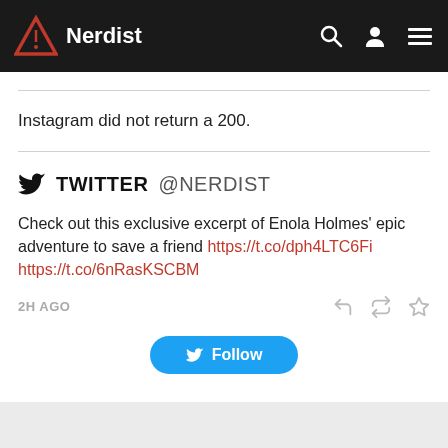Nerdist
Instagram did not return a 200.
TWITTER @NERDIST
Check out this exclusive excerpt of Enola Holmes' epic adventure to save a friend https://t.co/dph4LTC6Fi https://t.co/6nRasKSCBM
2H AGO
Follow